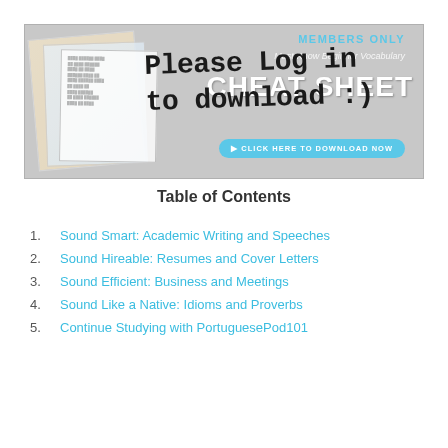[Figure (illustration): Members Only cheat sheet banner with handwritten overlay text 'Please Log in to download :)' over a gray promotional banner showing document pages and 'CHEAT SHEET' text]
Table of Contents
1. Sound Smart: Academic Writing and Speeches
2. Sound Hireable: Resumes and Cover Letters
3. Sound Efficient: Business and Meetings
4. Sound Like a Native: Idioms and Proverbs
5. Continue Studying with PortuguesePod101